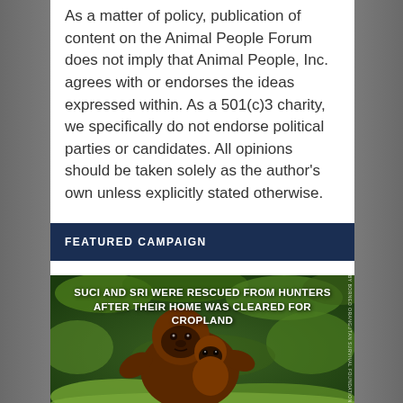As a matter of policy, publication of content on the Animal People Forum does not imply that Animal People, Inc. agrees with or endorses the ideas expressed within. As a 501(c)3 charity, we specifically do not endorse political parties or candidates. All opinions should be taken solely as the author's own unless explicitly stated otherwise.
FEATURED CAMPAIGN
[Figure (photo): Two orangutans (an adult and a baby) sitting in grass with text overlay reading 'SUCI AND SRI WERE RESCUED FROM HUNTERS AFTER THEIR HOME WAS CLEARED FOR CROPLAND']